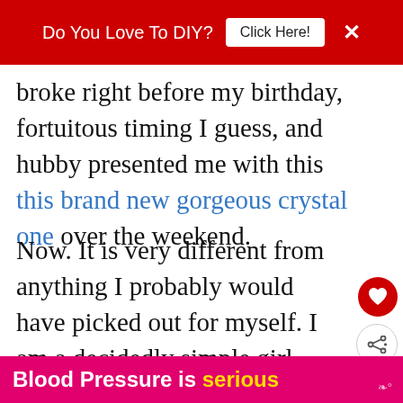Do You Love To DIY? Click Here! ×
broke right before my birthday, fortuitous timing I guess, and hubby presented me with this this brand new gorgeous crystal one over the weekend.
Now. It is very different from anything I probably would have picked out for myself. I am a decidedly simple girl going for a cottage style, farmhouse feel in the kitchen. Crystal doesn't really s…
WHAT'S NEXT → Decorating For Fall: The...
Blood Pressure is serious